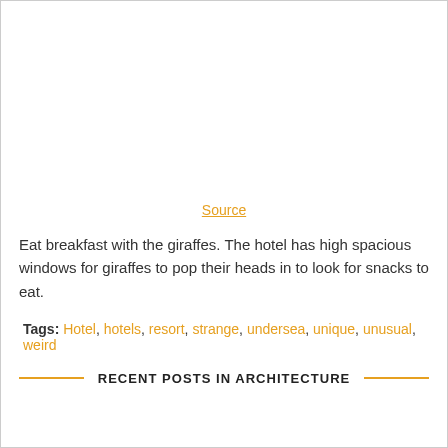Source
Eat breakfast with the giraffes. The hotel has high spacious windows for giraffes to pop their heads in to look for snacks to eat.
Tags: Hotel, hotels, resort, strange, undersea, unique, unusual, weird
RECENT POSTS IN ARCHITECTURE